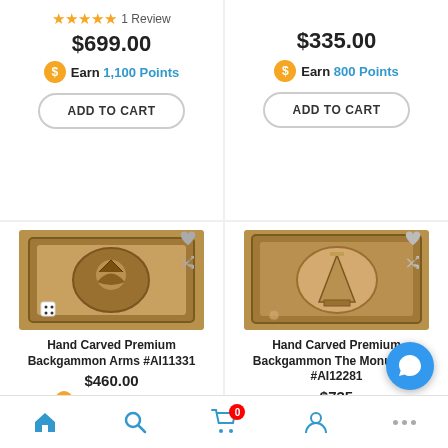★★★★★ 1 Review
$699.00
Earn 1,100 Points
ADD TO CART
$335.00
Earn 800 Points
ADD TO CART
[Figure (photo): Hand carved premium backgammon board with arms motif, wooden, dark brown]
Hand Carved Premium Backgammon Arms #AI11331
$460.00
Earn 1,100 Points
[Figure (photo): Hand carved premium backgammon board with monument motif, wooden, dark brown]
Hand Carved Premium Backgammon The Monument #AI12281
$735
Home | Search | Cart (0) | Account | More